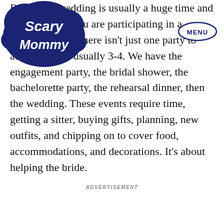[Figure (logo): Scary Mommy logo — white script text on dark navy cloud/blob shape]
[Figure (other): MENU button in navy oval outline]
Being in a wedding is usually a huge time and commitment. You are participating in a lifelong event. There isn't just one party to attend, there's usually 3-4. We have the engagement party, the bridal shower, the bachelorette party, the rehearsal dinner, then the wedding. These events require time, getting a sitter, buying gifts, planning, new outfits, and chipping on to cover food, accommodations, and decorations. It's about helping the bride.
ADVERTISEMENT